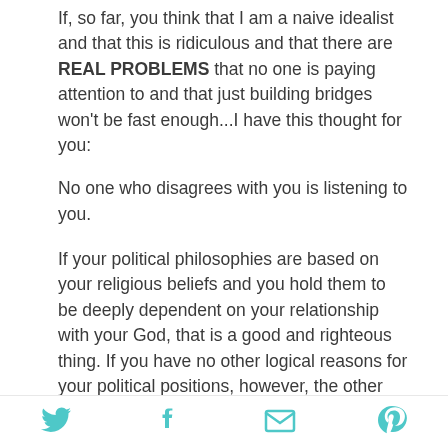If, so far, you think that I am a naive idealist and that this is ridiculous and that there are REAL PROBLEMS that no one is paying attention to and that just building bridges won't be fast enough...I have this thought for you:
No one who disagrees with you is listening to you.
If your political philosophies are based on your religious beliefs and you hold them to be deeply dependent on your relationship with your God, that is a good and righteous thing. If you have no other logical reasons for your political positions, however, the other side will never listen. Why would someone who does not believe in your God remotely care what He says about their sex lives? Why would they listen to you when, from their point of view, you do not care at all about them?
[Figure (infographic): Social media sharing icons: Twitter (bird), Facebook (f), Email (envelope), Pinterest (P) — teal/cyan color]